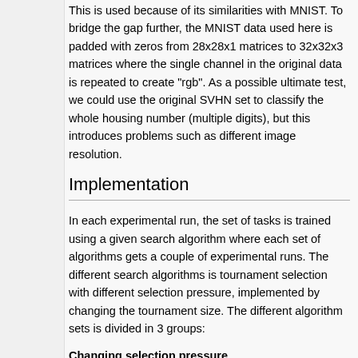This is used because of its similarities with MNIST. To bridge the gap further, the MNIST data used here is padded with zeros from 28x28x1 matrices to 32x32x3 matrices where the single channel in the original data is repeated to create "rgb". As a possible ultimate test, we could use the original SVHN set to classify the whole housing number (multiple digits), but this introduces problems such as different image resolution.
Implementation
In each experimental run, the set of tasks is trained using a given search algorithm where each set of algorithms gets a couple of experimental runs. The different search algorithms is tournament selection with different selection pressure, implemented by changing the tournament size. The different algorithm sets is divided in 3 groups:
Changing selection pressure
There is two versions of this experiment, but in both the selection pressure is